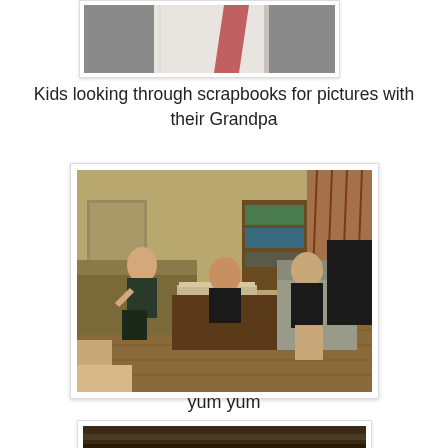[Figure (photo): Partial photo cropped at top, showing lower torso of person wearing gray cardigan over white shirt with pink/red detail]
Kids looking through scrapbooks for pictures with their Grandpa
[Figure (photo): Photo of children sitting in a living room looking through scrapbooks on a coffee table, with bookshelves and curtains in background]
yum yum
[Figure (photo): Partial photo at bottom of page, cropped]